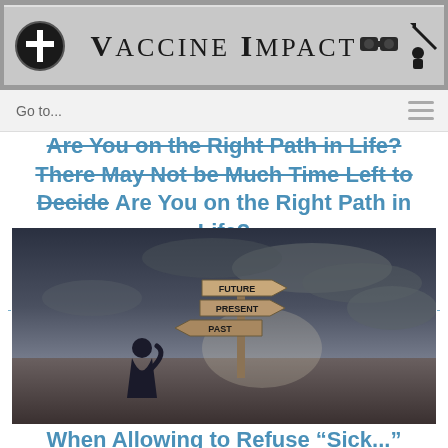Vaccine Impact
Go to...
Are You on the Right Path in Life? There May Not be Much Time Left to Decide
[Figure (photo): A man standing with his hand on his head looking at a wooden signpost with three arrow signs pointing in different directions: Future (top, pointing right), Present (middle, pointing right), Past (bottom, pointing left). The scene has a dramatic moody sky and barren landscape.]
When Allowing to Refuse "Sick..."